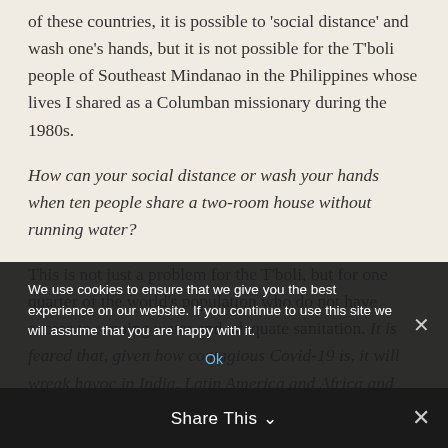of these countries, it is possible to 'social distance' and wash one's hands, but it is not possible for the T'boli people of Southeast Mindanao in the Philippines whose lives I shared as a Columban missionary during the 1980s.
How can your social distance or wash your hands when ten people share a two-room house without running water?
This is not just a problem for the T'boli, but for one quarter of the world's population who do not have access to running water and adequate sanitation. It is feared that, given how contagious Covid-19 is, it will wreak havoc in India, Latin America and Africa and cause millions of deaths because their public health systems are rudimentary.
We use cookies to ensure that we give you the best experience on our website. If you continue to use this site we will assume that you are happy with it.
Ok
Share This